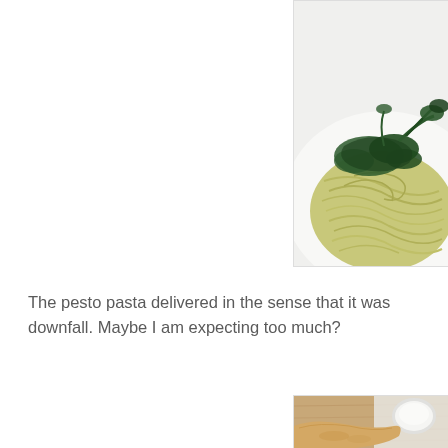[Figure (photo): A plate of pesto pasta (spaghetti) topped with dark green herbs/basil, served on a white plate against a white background. The image is cropped at the top-right of the page.]
The pesto pasta delivered in the sense that it was downfall. Maybe I am expecting too much?
[Figure (photo): A partial view of what appears to be bread/flatbread and a small bowl of white dipping sauce on a wooden surface. The image is cropped at the bottom-right of the page.]